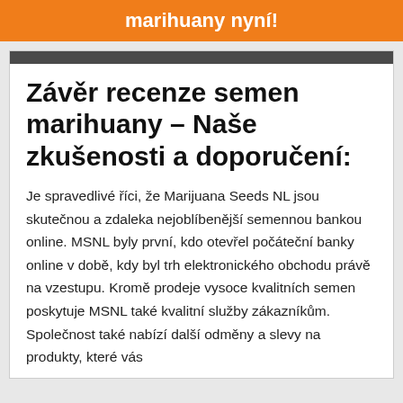marihuany nyní!
Závěr recenze semen marihuany – Naše zkušenosti a doporučení:
Je spravedlivé říci, že Marijuana Seeds NL jsou skutečnou a zdaleka nejoblíbenější semennou bankou online. MSNL byly první, kdo otevřel počáteční banky online v době, kdy byl trh elektronického obchodu právě na vzestupu. Kromě prodeje vysoce kvalitních semen poskytuje MSNL také kvalitní služby zákazníkům. Společnost také nabízí další odměny a slevy na produkty, které vás